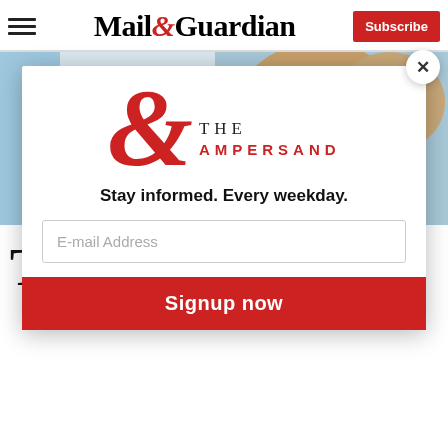Mail & Guardian | Subscribe
[Figure (photo): Photograph showing teddy bears and a newspaper, used as article header image]
T
[Figure (infographic): The Ampersand newsletter modal popup with large red ampersand logo, tagline 'Stay informed. Every weekday.', email address input field, and Signup now button]